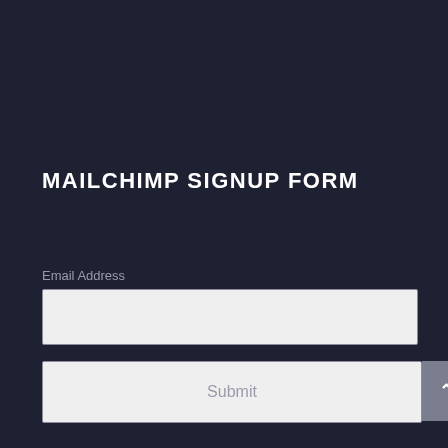MAILCHIMP SIGNUP FORM
Email Address
[Figure (screenshot): Email address input field (empty text box with light gray background)]
[Figure (screenshot): Submit button with light gray background and gray text, alongside a dark gray scroll-to-top button with upward arrow]